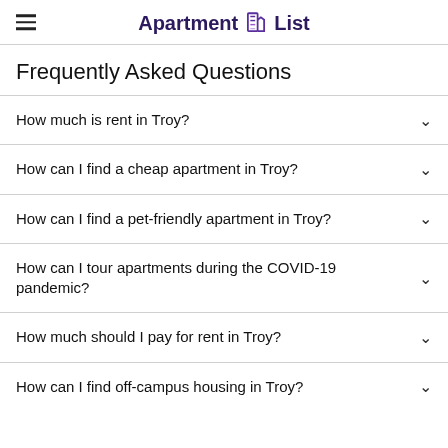Apartment List
Frequently Asked Questions
How much is rent in Troy?
How can I find a cheap apartment in Troy?
How can I find a pet-friendly apartment in Troy?
How can I tour apartments during the COVID-19 pandemic?
How much should I pay for rent in Troy?
How can I find off-campus housing in Troy?